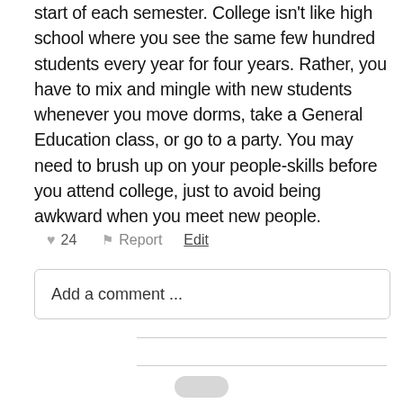start of each semester. College isn't like high school where you see the same few hundred students every year for four years. Rather, you have to mix and mingle with new students whenever you move dorms, take a General Education class, or go to a party. You may need to brush up on your people-skills before you attend college, just to avoid being awkward when you meet new people.
♥ 24  ⚑ Report  Edit
Add a comment ...